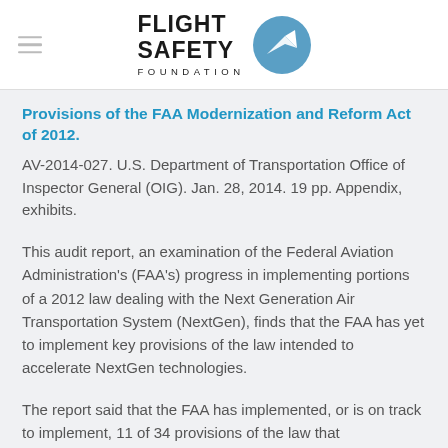Flight Safety Foundation [logo]
Provisions of the FAA Modernization and Reform Act of 2012.
AV-2014-027. U.S. Department of Transportation Office of Inspector General (OIG). Jan. 28, 2014. 19 pp. Appendix, exhibits.
This audit report, an examination of the Federal Aviation Administration's (FAA's) progress in implementing portions of a 2012 law dealing with the Next Generation Air Transportation System (NextGen), finds that the FAA has yet to implement key provisions of the law intended to accelerate NextGen technologies.
The report said that the FAA has implemented, or is on track to implement, 11 of 34 provisions of the law that